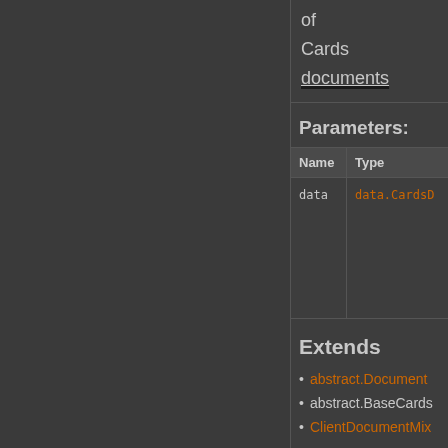of Cards documents
Parameters:
| Name | Type |
| --- | --- |
| data | data.CardsD |
Extends
abstract.Document
abstract.BaseCards
ClientDocumentMix